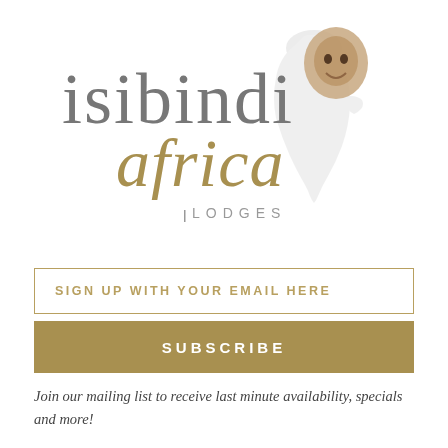[Figure (logo): Isibindi Africa Lodges logo with stylized text 'isibindi' in grey, 'africa' in gold italic script, 'LODGES' in uppercase spaced grey text, and a decorative Africa map silhouette with a smiling child's face overlaid in the top right]
SIGN UP WITH YOUR EMAIL HERE
SUBSCRIBE
Join our mailing list to receive last minute availability, specials and more!